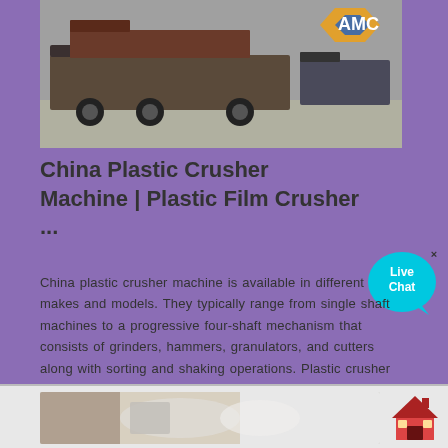[Figure (photo): Photo of industrial machinery (plastic crusher) loaded on a flatbed truck, with AMC company logo in top right corner]
China Plastic Crusher Machine | Plastic Film Crusher ...
China plastic crusher machine is available in different makes and models. They typically range from single shaft machines to a progressive four-shaft mechanism that consists of grinders, hammers, granulators, and cutters along with sorting and shaking operations. Plastic crusher can typically drive from 50HP to 1,250HP.
[Figure (photo): Bottom portion showing another product image, partially visible, with a house/home icon in bottom right]